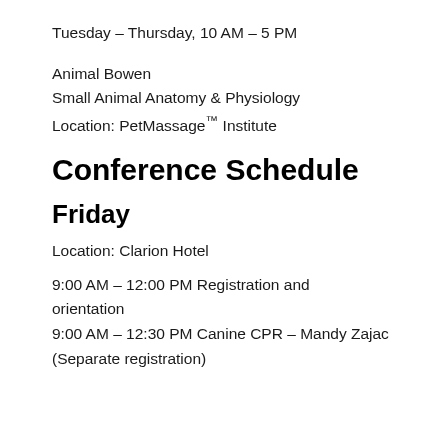Tuesday – Thursday, 10 AM – 5 PM
Animal Bowen
Small Animal Anatomy & Physiology
Location: PetMassage™ Institute
Conference Schedule
Friday
Location: Clarion Hotel
9:00 AM – 12:00 PM Registration and orientation
9:00 AM – 12:30 PM Canine CPR – Mandy Zajac
(Separate registration)